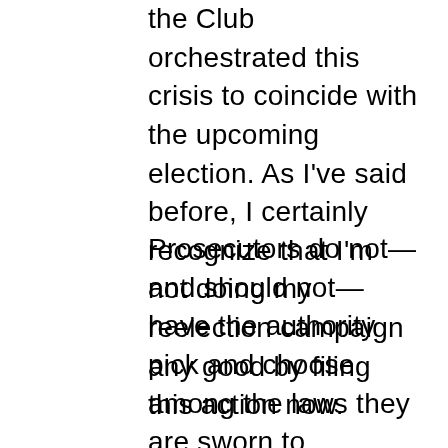the Club orchestrated this crisis to coincide with the upcoming election. As I've said before, I certainly recognize that I'm not doing my reelection campaign any good by filing this action now.
Prosecutors do not—and should not—have the authority pick and choose among the laws they are sworn to enforce.  We do indeed have to make choices about how to expend our resources, but those choices should be guided by principle.  I have been advised that the politically expedient thing to do would be to look the other way and